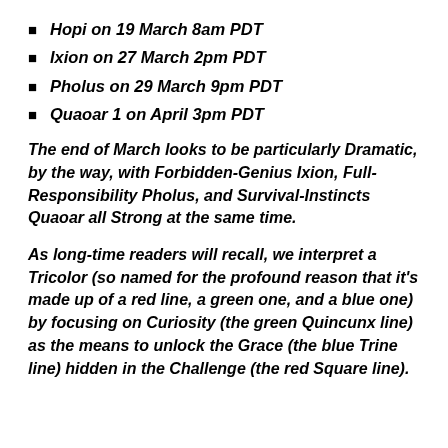Hopi on 19 March 8am PDT
Ixion on 27 March 2pm PDT
Pholus on 29 March 9pm PDT
Quaoar 1 on April 3pm PDT
The end of March looks to be particularly Dramatic, by the way, with Forbidden-Genius Ixion, Full-Responsibility Pholus, and Survival-Instincts Quaoar all Strong at the same time.
As long-time readers will recall, we interpret a Tricolor (so named for the profound reason that it’s made up of a red line, a green one, and a blue one) by focusing on Curiosity (the green Quincunx line) as the means to unlock the Grace (the blue Trine line) hidden in the Challenge (the red Square line).